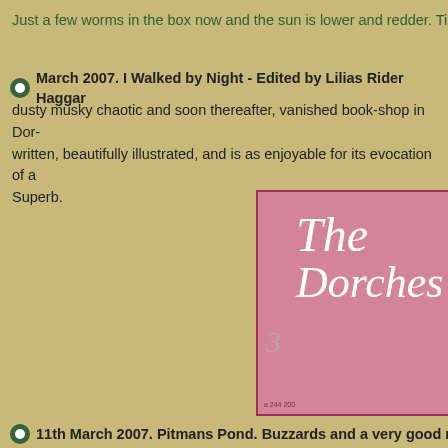Just a few worms in the box now and the sun is lower and redder. Tim
March 2007. I Walked by Night - Edited by Lilias Rider Haggar
dusty musky chaotic and soon thereafter, vanished book-shop in Dor- written, beautifully illustrated, and is as enjoyable for its evocation of a Superb.
[Figure (illustration): Pink banner showing chapter heading: 3 The Dorchester]
11th March 2007. Pitmans Pond. Buzzards and a very good ru
wind. Busy here today, pegs 3, 4, 16 & 17 are occupied. Peg 13 is no sun, chair flipped so I'm on the ground with a backrest and sat on the
Lulled by the sun a stabbing bite develops from ten minutes of playfu closest to a fish. I add some corn to the hook and the hemp and go a The water is 10°C, warm also. In the sun the temperature is 20°C, bu about larger bait. Size '8' hook currently and two grains of corn tipped hint from somewhere available from existing available f